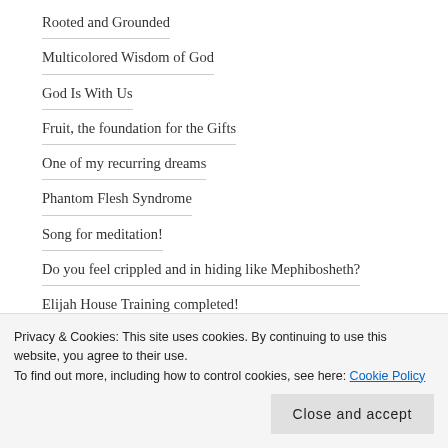Rooted and Grounded
Multicolored Wisdom of God
God Is With Us
Fruit, the foundation for the Gifts
One of my recurring dreams
Phantom Flesh Syndrome
Song for meditation!
Do you feel crippled and in hiding like Mephibosheth?
Elijah House Training completed!
Good morning, Holy Spirit!
Privacy & Cookies: This site uses cookies. By continuing to use this website, you agree to their use. To find out more, including how to control cookies, see here: Cookie Policy
Past knowledge and mantles!